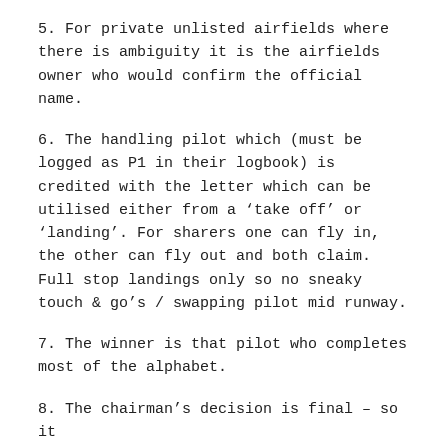5. For private unlisted airfields where there is ambiguity it is the airfields owner who would confirm the official name.
6. The handling pilot which (must be logged as P1 in their logbook) is credited with the letter which can be utilised either from a 'take off' or 'landing'. For sharers one can fly in, the other can fly out and both claim.  Full stop landings only so no sneaky touch & go's / swapping pilot mid runway.
7. The winner is that pilot who completes most of the alphabet.
8. The chairman's decision is final – so it